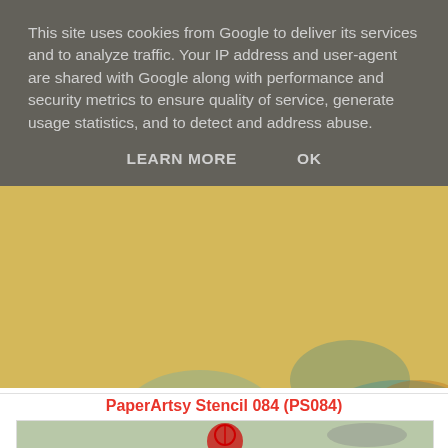This site uses cookies from Google to deliver its services and to analyze traffic. Your IP address and user-agent are shared with Google along with performance and security metrics to ensure quality of service, generate usage statistics, and to detect and address abuse.
LEARN MORE    OK
[Figure (illustration): Artwork showing two vintage portrait illustrations (faces) on a textured yellow/blue background with old printed text. Left portrait shows a frontal face with ornate crown. Right portrait shows a side-profile face with necklace.]
PaperArtsy Stencil 084 (PS084)
[Figure (illustration): Partial view of another artwork/product image at the bottom of the page.]